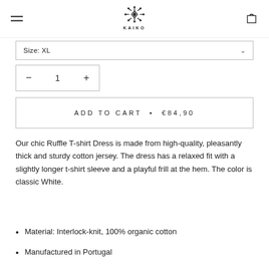[Figure (logo): Kaiko brand logo: a geometric snowflake/star pattern with the word KAIKO below in spaced capitals]
Size: XL
− 1 +
ADD TO CART • €84,90
Our chic Ruffle T-shirt Dress is made from high-quality, pleasantly thick and sturdy cotton jersey. The dress has a relaxed fit with a slightly longer t-shirt sleeve and a playful frill at the hem. The color is classic White.
Material: Interlock-knit, 100% organic cotton
Manufactured in Portugal